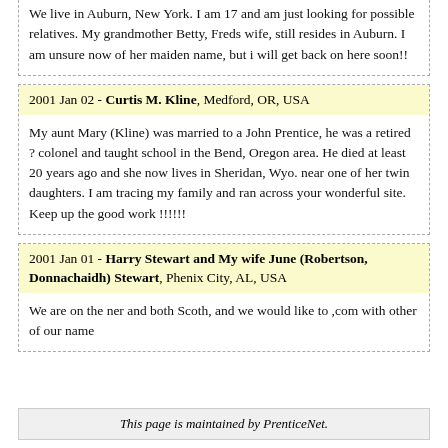We live in Auburn, New York. I am 17 and am just looking for possible relatives. My grandmother Betty, Freds wife, still resides in Auburn. I am unsure now of her maiden name, but i will get back on here soon!!
2001 Jan 02 - Curtis M. Kline, Medford, OR, USA
My aunt Mary (Kline) was married to a John Prentice, he was a retired ? colonel and taught school in the Bend, Oregon area. He died at least 20 years ago and she now lives in Sheridan, Wyo. near one of her twin daughters. I am tracing my family and ran across your wonderful site. Keep up the good work !!!!!!
2001 Jan 01 - Harry Stewart and My wife June (Robertson, Donnachaidh) Stewart, Phenix City, AL, USA
We are on the ner and both Scoth, and we would like to ,com with other of our name
This page is maintained by PrenticeNet.